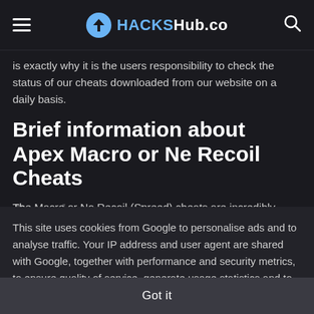HACKSHub.co
is exactly why it is the users responsibility to check the status of our cheats downloaded from our website on a daily basis.
Brief information about Apex Macro or Ne Recoil Cheats
The Macro or No Recoil (Spreed) cheats are incredibly helpful in improving your shooting technique as they get rid of any
This site uses cookies from Google to personalise ads and to analyse traffic. Your IP address and user agent are shared with Google, together with performance and security metrics, to ensure quality of service, generate usage statistics and to detect abuse. Learn more
Got it